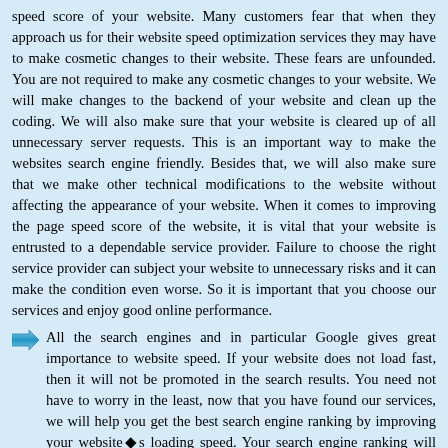speed score of your website. Many customers fear that when they approach us for their website speed optimization services they may have to make cosmetic changes to their website. These fears are unfounded. You are not required to make any cosmetic changes to your website. We will make changes to the backend of your website and clean up the coding. We will also make sure that your website is cleared up of all unnecessary server requests. This is an important way to make the websites search engine friendly. Besides that, we will also make sure that we make other technical modifications to the website without affecting the appearance of your website. When it comes to improving the page speed score of the website, it is vital that your website is entrusted to a dependable service provider. Failure to choose the right service provider can subject your website to unnecessary risks and it can make the condition even worse. So it is important that you choose our services and enjoy good online performance.
All the search engines and in particular Google gives great importance to website speed. If your website does not load fast, then it will not be promoted in the search results. You need not have to worry in the least, now that you have found our services, we will help you get the best search engine ranking by improving your website◆s loading speed. Your search engine ranking will improve with our page speed optimization services. If there are any indexing problems, such problems too will be rectified when we optimize the page speed of the website.